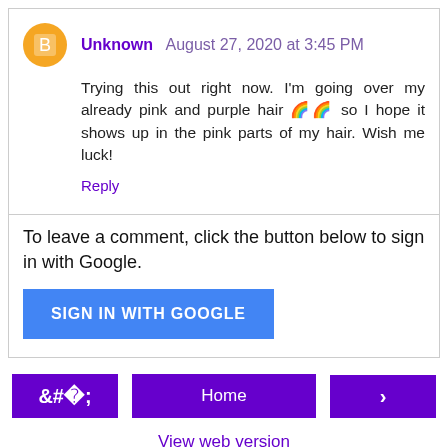Unknown  August 27, 2020 at 3:45 PM
Trying this out right now. I'm going over my already pink and purple hair 🌈 so I hope it shows up in the pink parts of my hair. Wish me luck!
Reply
To leave a comment, click the button below to sign in with Google.
SIGN IN WITH GOOGLE
Home
View web version
Blogger